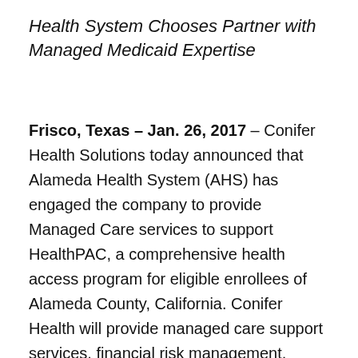Health System Chooses Partner with Managed Medicaid Expertise
Frisco, Texas – Jan. 26, 2017 – Conifer Health Solutions today announced that Alameda Health System (AHS) has engaged the company to provide Managed Care services to support HealthPAC, a comprehensive health access program for eligible enrollees of Alameda County, California. Conifer Health will provide managed care support services, financial risk management, population health management and nurse consulting services to help the four-hospital system better serve a population of 33,000 HealthPAC members.